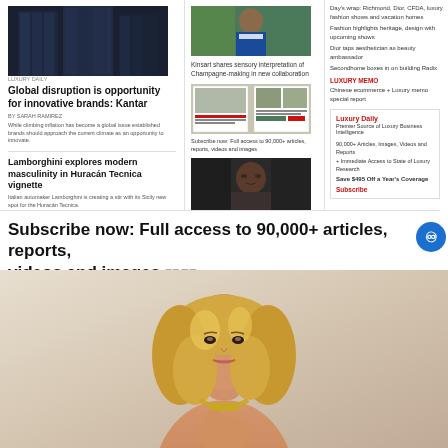[Figure (photo): Dark glass skyscraper building photograph]
LUXURY DAILY
Global disruption is opportunity for innovative brands: Kantar
By SARAH RAMIREZ
While climbing inflation has become a global issue established brands should approach the current climate as an opportunity to innovate.
Lamborghini explores modern masculinity in Huracán Tecnica vignette
Italian automaker Lamborghini is creating a stir with its Sicily new spot for the Huracán Tecnica.
[Figure (photo): Man in blue suit outdoors]
Kinsart shares sensory interpretation of Champagne-making in new collaboration
[Figure (photo): Luxury Daily magazine thumbnail]
Subscribe now: Full access to 90,000+ articles, reports, videos and images
[Figure (photo): Richmond, Dior CFDA portrait man]
Richmond, Dior CFDA, luxury fashion shows and vacation homes
Day's wrap: Richmond, Dior, CFDA, luxury fashion shows and vacation homes
Fashion highlights heritage, design with upcoming shows
Dior taps aesthetician as beauty ambassador
Secondhome boxes in on building Radix
LUXURY MEMO
Chinese ecommerce + Luxury memo special report
Luxury Daily
Premier Source of Luxury Business Intelligence
90,000+ Articles, Images, Videos and Reports
+ Immediate Access to State of Luxury Research
Save $495 Off a Year's Coverage
Subscribe
Subscribe now: Full access to 90,000+ articles, reports, videos and images FREE
[Figure (photo): Blonde woman with gold necklace, fashion/beauty portrait]